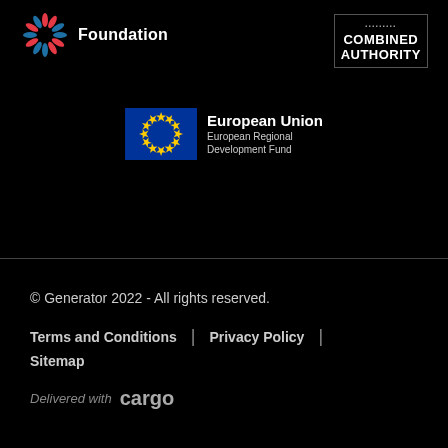[Figure (logo): Foundation logo with colorful flower/sparkle icon and 'Foundation' text in white]
[Figure (logo): Combined Authority logo with text 'COMBINED AUTHORITY' in white on dark background]
[Figure (logo): European Union European Regional Development Fund logo with EU flag]
© Generator 2022 - All rights reserved.
Terms and Conditions | Privacy Policy | Sitemap
Delivered with cargo